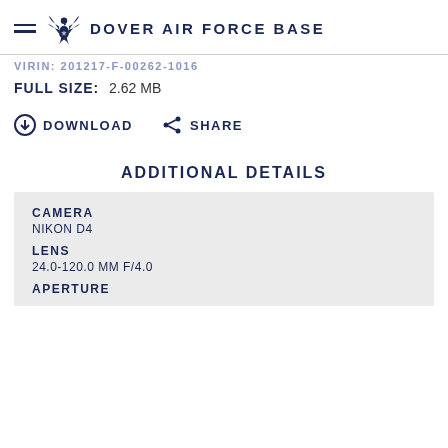DOVER AIR FORCE BASE
VIRIN: 201217-F-00262-1016
FULL SIZE: 2.62 MB
DOWNLOAD   SHARE
ADDITIONAL DETAILS
CAMERA
NIKON D4
LENS
24.0-120.0 mm f/4.0
APERTURE